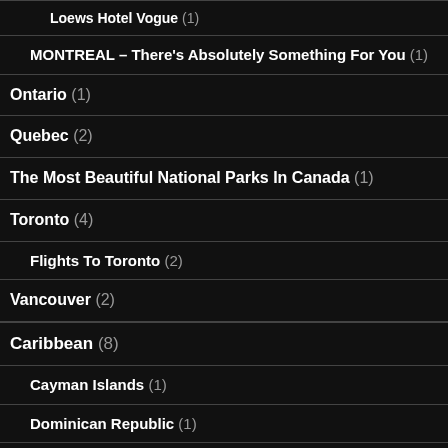Loews Hotel Vogue (1)
MONTREAL – There's Absolutely Something For You (1)
Ontario (1)
Quebec (2)
The Most Beautiful National Parks In Canada (1)
Toronto (4)
Flights To Toronto (2)
Vancouver (2)
Caribbean (8)
Cayman Islands (1)
Dominican Republic (1)
Haiti (1)
Puerto Rico (1)